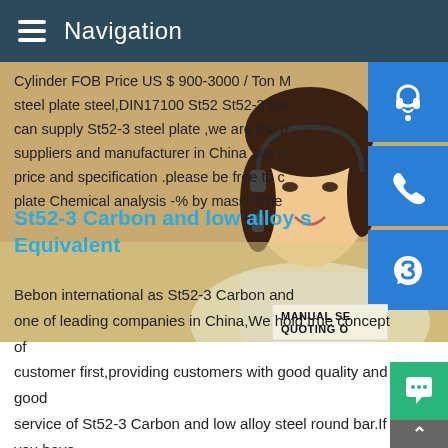Navigation
Cylinder FOB Price US $ 900-3000 / Ton M steel plate steel,DIN17100 St52 St52-3 ste can supply St52-3 steel plate ,we are the b suppliers and manufacturer in China ,we c price and specification .please be free to c plate Chemical analysis -% by mass* Che
St52-3 Carbon and low alloy s Equivalent
Bebon international as St52-3 Carbon and one of leading companies in China,We hold true concept of customer first,providing customers with good quality and good service of St52-3 Carbon and low alloy steel round bar.If you have any requirements about DIN 17100 St52-3St52,St52.3,St52.4 Seamless Pipe Suppliers IndiaSt52,St52.3,St52.4 Seamless P that are not in stock at our own warehouse are based on the s
[Figure (photo): Customer service representative woman with headset smiling, with contact icons (headset, phone, Skype) on right side and email/chat overlays]